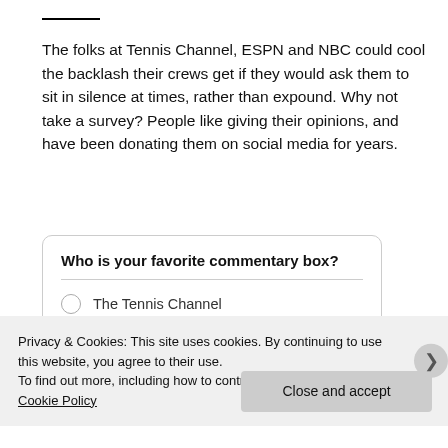The folks at Tennis Channel, ESPN and NBC could cool the backlash their crews get if they would ask them to sit in silence at times, rather than expound. Why not take a survey? People like giving their opinions, and have been donating them on social media for years.
Who is your favorite commentary box?
The Tennis Channel
ESPN
Privacy & Cookies: This site uses cookies. By continuing to use this website, you agree to their use.
To find out more, including how to control cookies, see here: Cookie Policy
Close and accept